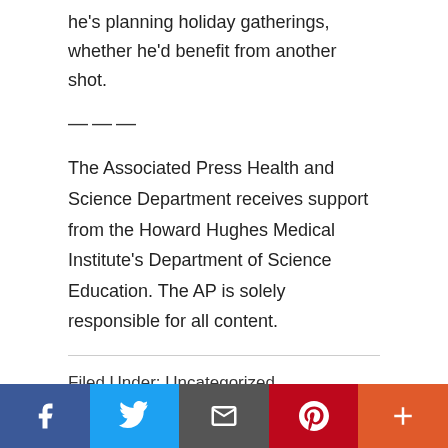he's planning holiday gatherings, whether he'd benefit from another shot.
———
The Associated Press Health and Science Department receives support from the Howard Hughes Medical Institute's Department of Science Education. The AP is solely responsible for all content.
Filed Under: Uncategorized
John Wherry, Sarah Long, COVID, U.S., Europe, AP, Pfizer, BioNTech, Food and Drug Administration, University of
[Figure (infographic): Social media share bar with buttons for Facebook, Twitter, Email, Pinterest, and More (plus icon)]